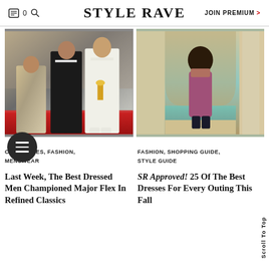STYLE RAVE | JOIN PREMIUM >
[Figure (photo): Two men in fashion outfits – one in a patterned cardigan with cream trousers, another in a black suit, and a third in a white suit holding an Emmy award on a red carpet backdrop]
[Figure (photo): Woman with natural afro hair wearing a multicolored midi dress and black boots, standing in a Moroccan-style arched hallway with a pool]
CELEBRITIES, FASHION, MENSWEAR
FASHION, SHOPPING GUIDE, STYLE GUIDE
Last Week, The Best Dressed Men Championed Major Flex In Refined Classics
SR Approved! 25 Of The Best Dresses For Every Outing This Fall